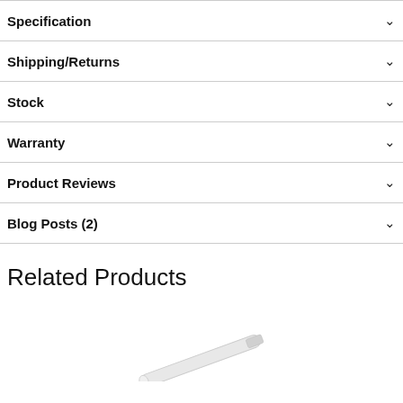Specification
Shipping/Returns
Stock
Warranty
Product Reviews
Blog Posts (2)
Related Products
[Figure (photo): A white elongated product (possibly a pen or tube) shown at an angle against white background]